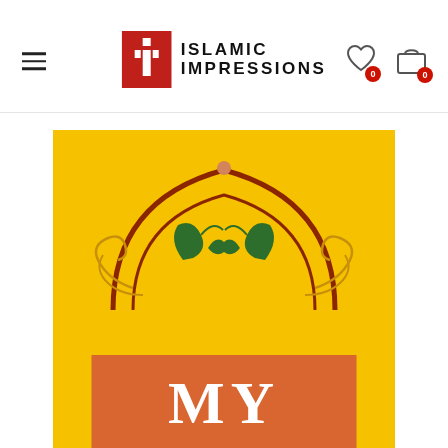[Figure (logo): Islamic Impressions logo with red square icon containing letter I and the text ISLAMIC IMPRESSIONS]
[Figure (illustration): Book cover on yellow background with decorative Islamic arch ornament in green and red/brown, with text MY on an orange-brown rectangle at the bottom]